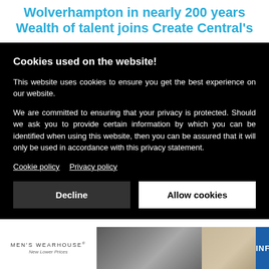Wolverhampton in nearly 200 years Wealth of talent joins Create Central's
Cookies used on the website!
This website uses cookies to ensure you get the best experience on our website.
We are committed to ensuring that your privacy is protected. Should we ask you to provide certain information by which you can be identified when using this website, then you can be assured that it will only be used in accordance with this privacy statement.
Cookie policy   Privacy policy
Decline   Allow cookies
[Figure (screenshot): Advertisement banner for Men's Wearhouse featuring couple in formal wear and a man in a tan suit, with INFO button]